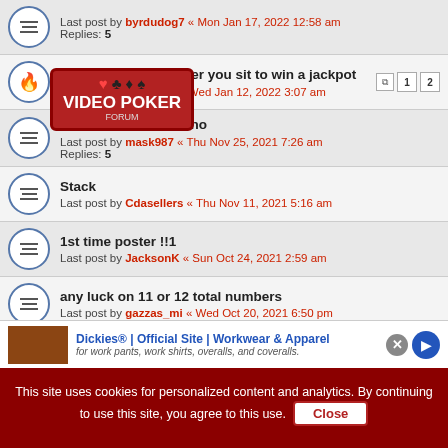Last post by byrdudog7 « Mon Jan 17, 2022 12:58 am
Replies: 5
How long it takes after you sit to win a jackpot
Last post by blazedog « Wed Jan 12, 2022 3:07 am
[Figure (logo): Video Poker logo with suits icons]
Davinci Diamond Keno
Last post by mask987 « Thu Nov 25, 2021 7:26 am
Replies: 5
Stack
Last post by Cdasellers « Thu Nov 11, 2021 5:16 am
1st time poster !!1
Last post by JacksonK « Sun Oct 24, 2021 2:59 am
any luck on 11 or 12 total numbers
Last post by gazzas_mi « Wed Oct 20, 2021 6:50 pm
Multi Card Keno - a really good weekend...
Last post by Come Back Kid « Sun Oct 10, 2021 4:18 pm
Replies: 1
Dickies® | Official Site | Workwear & Apparel
for work pants, work shirts, overalls, and coveralls.
This site uses cookies for personalized content and analytics. By continuing to use this site, you agree to this use. Close